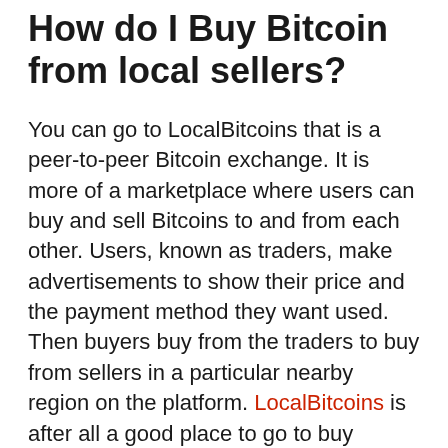How do I Buy Bitcoin from local sellers?
You can go to LocalBitcoins that is a peer-to-peer Bitcoin exchange. It is more of a marketplace where users can buy and sell Bitcoins to and from each other. Users, known as traders, make advertisements to show their price and the payment method they want used. Then buyers buy from the traders to buy from sellers in a particular nearby region on the platform. LocalBitcoins is after all a good place to go to buy Bitcoins when it is impossible for you to find your favorite payment methods somewhere else. The site's prices are high and you have you have to be extra careful to avoid conmen.